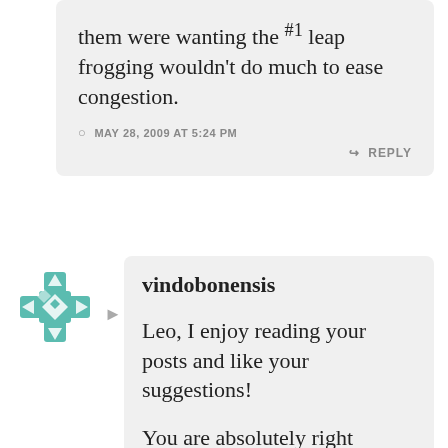them were wanting the #1 leap frogging wouldn't do much to ease congestion.
MAY 28, 2009 AT 5:24 PM
REPLY
[Figure (logo): Teal/green decorative avatar icon with geometric cross and star pattern]
vindobonensis
Leo, I enjoy reading your posts and like your suggestions!
You are absolutely right